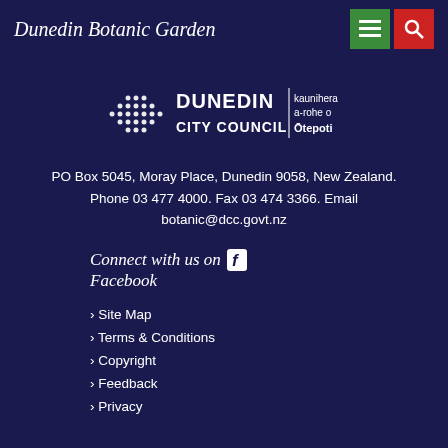Dunedin Botanic Garden
[Figure (logo): Dunedin City Council logo with text: DUNEDIN CITY COUNCIL kaunihera a-rohe o Ōtepoti]
PO Box 5045, Moray Place, Dunedin 9058, New Zealand. Phone 03 477 4000. Fax 03 474 3366. Email botanic@dcc.govt.nz
Connect with us on Facebook
› Site Map
› Terms & Conditions
› Copyright
› Feedback
› Privacy